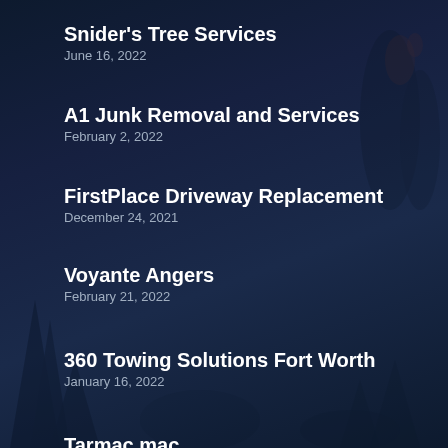Snider's Tree Services
June 16, 2022
A1 Junk Removal and Services
February 2, 2022
FirstPlace Driveway Replacement
December 24, 2021
Voyante Angers
February 21, 2022
360 Towing Solutions Fort Worth
January 16, 2022
Tarmac.mac